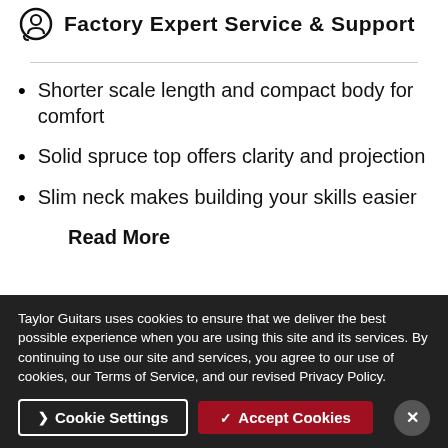Factory Expert Service & Support
Shorter scale length and compact body for comfort
Solid spruce top offers clarity and projection
Slim neck makes building your skills easier
Read More
Taylor Guitars uses cookies to ensure that we deliver the best possible experience when you are using this site and its services. By continuing to use our site and services, you agree to our use of cookies, our Terms of Service, and our revised Privacy Policy.
Cookie Settings
✓ Accept Cookies